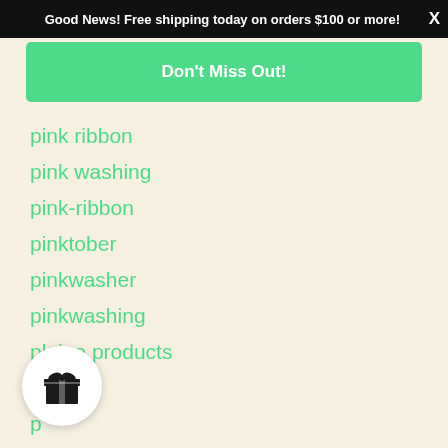Good News! Free shipping today on orders $100 or more! X
Don't Miss Out!
pink ribbon
pink washing
pink-ribbon
pinktober
pinkwasher
pinkwashing
plaine products
plume
p...
po...
prevention
[Figure (illustration): Gift box icon in a white circle button at the bottom left of the page]